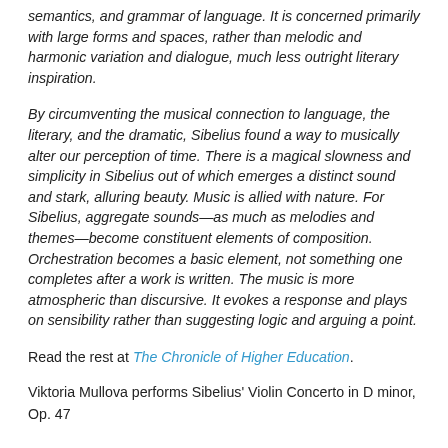semantics, and grammar of language. It is concerned primarily with large forms and spaces, rather than melodic and harmonic variation and dialogue, much less outright literary inspiration.
By circumventing the musical connection to language, the literary, and the dramatic, Sibelius found a way to musically alter our perception of time. There is a magical slowness and simplicity in Sibelius out of which emerges a distinct sound and stark, alluring beauty. Music is allied with nature. For Sibelius, aggregate sounds—as much as melodies and themes—become constituent elements of composition. Orchestration becomes a basic element, not something one completes after a work is written. The music is more atmospheric than discursive. It evokes a response and plays on sensibility rather than suggesting logic and arguing a point.
Read the rest at The Chronicle of Higher Education.
Viktoria Mullova performs Sibelius' Violin Concerto in D minor, Op. 47